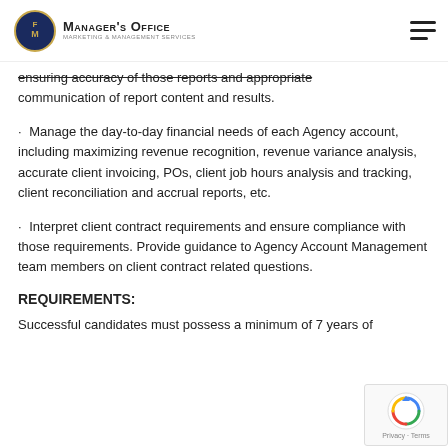Manager's Office - Marketing & Management Services
ensuring accuracy of those reports and appropriate communication of report content and results.
Manage the day-to-day financial needs of each Agency account, including maximizing revenue recognition, revenue variance analysis, accurate client invoicing, POs, client job hours analysis and tracking, client reconciliation and accrual reports, etc.
Interpret client contract requirements and ensure compliance with those requirements. Provide guidance to Agency Account Management team members on client contract related questions.
REQUIREMENTS:
Successful candidates must possess a minimum of 7 years of...